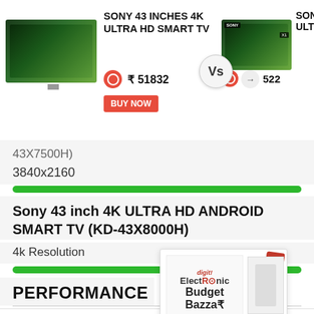[Figure (screenshot): Product comparison banner: Sony 43 INCHES 4K ULTRA HD SMART TV with TV image, price ₹51832, BUY NOW button vs Sony 43 INCHES 4K ULTRA HD (right side truncated) with TV image and price 522. A Vs circle separates the two.]
43X7500H)
3840x2160
Sony 43 inch 4K ULTRA HD ANDROID SMART TV (KD-43X8000H)
4k Resolution
PERFORMANCE
[Figure (screenshot): ElectRonic Budget Bazza advertisement box with red cube icon, product image, and close button]